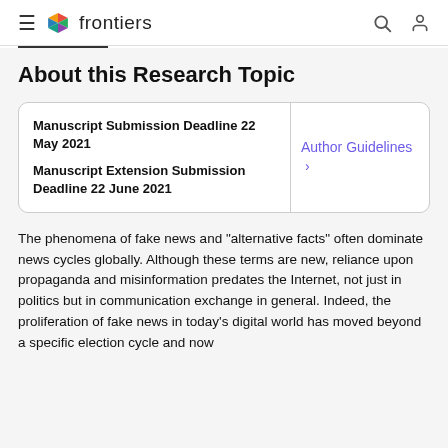frontiers
About this Research Topic
| Deadline Info | Links |
| --- | --- |
| Manuscript Submission Deadline 22 May 2021
Manuscript Extension Submission Deadline 22 June 2021 | Author Guidelines → |
The phenomena of fake news and "alternative facts" often dominate news cycles globally. Although these terms are new, reliance upon propaganda and misinformation predates the Internet, not just in politics but in communication exchange in general. Indeed, the proliferation of fake news in today's digital world has moved beyond a specific election cycle and now